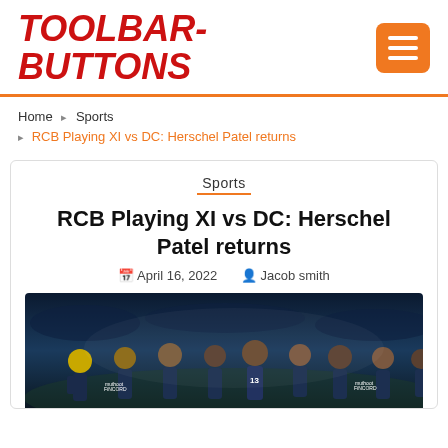TOOLBAR-BUTTONS
Sports
Home › Sports › RCB Playing XI vs DC: Herschel Patel returns
Sports
RCB Playing XI vs DC: Herschel Patel returns
April 16, 2022  Jacob smith
[Figure (photo): Cricket players in dark blue RCB jerseys (with Muthoot Fincorp sponsor) huddled together on the field, celebrating or discussing strategy. One player is wearing a yellow helmet.]